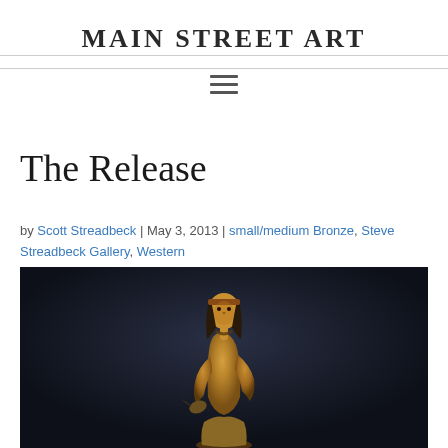Main Street Art
The Release
by Scott Streadbeck | May 3, 2013 | small/medium Bronze, Steve Streadbeck Gallery, Western
[Figure (photo): Bronze sculpture of a Native American figure in a dynamic pose, golden-bronze patina, against a dark background. The figure appears to be releasing something, wearing a headband with long flowing hair and a necklace.]